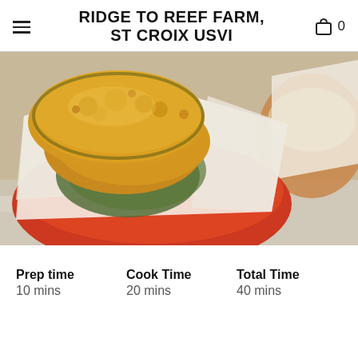RIDGE TO REEF FARM, ST CROIX USVI
[Figure (photo): Close-up photo of breaded zucchini chips served in a red bowl lined with parchment paper, golden and crispy on top, with another bowl visible in the background on a checkered tablecloth.]
Prep time  Cook Time  Total Time
10 mins  20 mins  40 mins